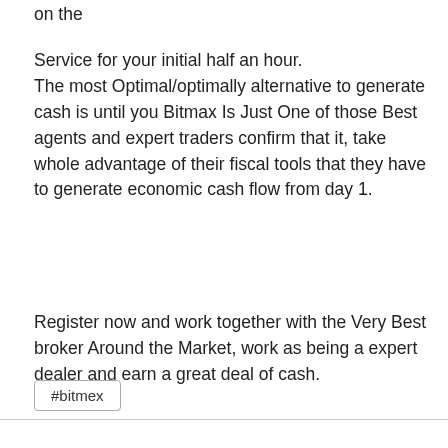on the
Service for your initial half an hour.
The most Optimal/optimally alternative to generate cash is until you Bitmax Is Just One of those Best agents and expert traders confirm that it, take whole advantage of their fiscal tools that they have to generate economic cash flow from day 1.
Register now and work together with the Very Best broker Around the Market, work as being a expert dealer and earn a great deal of cash.
#bitmex